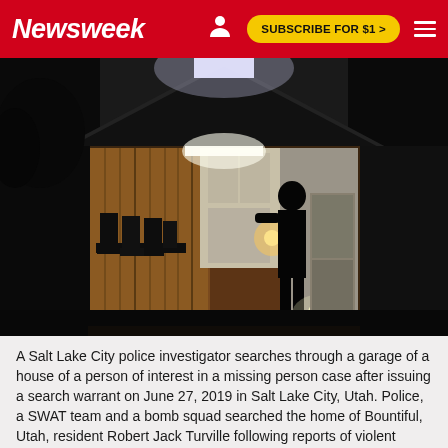Newsweek  SUBSCRIBE FOR $1 >
[Figure (photo): Nighttime photo of a Salt Lake City police investigator silhouetted in an open garage doorway, searching through a house. The garage interior is lit with warm yellow/orange light showing furniture and appliances. A bright light shines near the figure on the right side.]
A Salt Lake City police investigator searches through a garage of a house of a person of interest in a missing person case after issuing a search warrant on June 27, 2019 in Salt Lake City, Utah. Police, a SWAT team and a bomb squad searched the home of Bountiful, Utah, resident Robert Jack Turville following reports of violent threats.